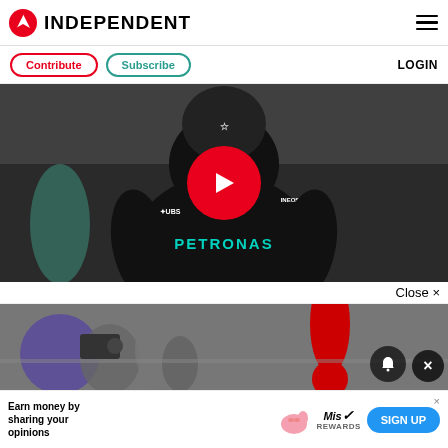INDEPENDENT
Contribute  Subscribe  LOGIN
[Figure (photo): F1 driver in Mercedes-AMG Petronas black racing suit viewed from behind, with large red play button overlay indicating a video player. Mercedes logo on helmet, PETRONAS text on suit back, UBS and INEOS sponsor logos visible.]
Close ×
[Figure (photo): Crowd scene at what appears to be a Formula 1 race paddock or pit area. A figure in red race suit visible, photographers and spectators in background. Bell notification icon and close X button overlaid.]
Earn money by sharing your opinions
SIGN UP
Mis Rewards